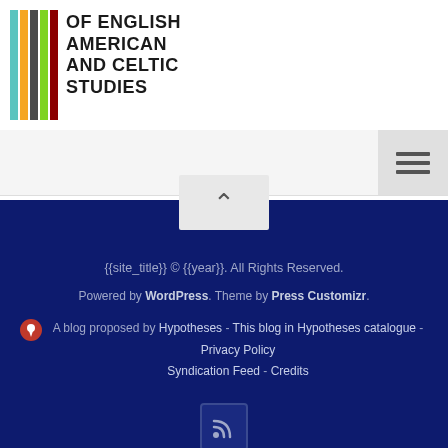[Figure (logo): Logo with colored vertical bars and text: OF ENGLISH AMERICAN AND CELTIC STUDIES]
[Figure (other): Navigation bar with hamburger menu icon (three horizontal lines) on the right]
[Figure (other): Back to top button with chevron/caret up icon]
{{site_title}} © {{year}}. All Rights Reserved. Powered by WordPress. Theme by Press Customizr. A blog proposed by Hypotheses - This blog in Hypotheses catalogue - Privacy Policy Syndication Feed - Credits
[Figure (other): RSS feed icon in a rounded square box]